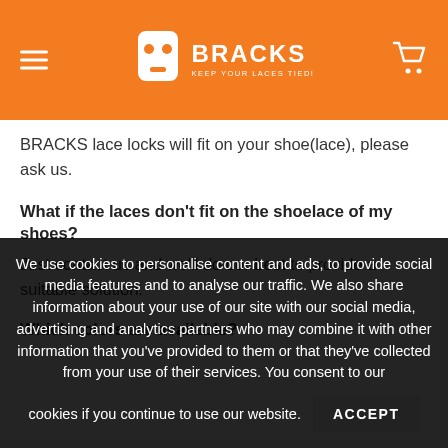BRACKS — KEEP YOUR LACES TIED!
BRACKS lace locks will fit on your shoe(lace), please ask us.
What if the laces don't fit on the shoelace of my shoes?
Just contact us and we'll do our best to provide a suitable solution.
Which colors are available?
We use cookies to personalise content and ads, to provide social media features and to analyse our traffic. We also share information about your use of our site with our social media, advertising and analytics partners who may combine it with other information that you've provided to them or that they've collected from your use of their services. You consent to our cookies if you continue to use our website.